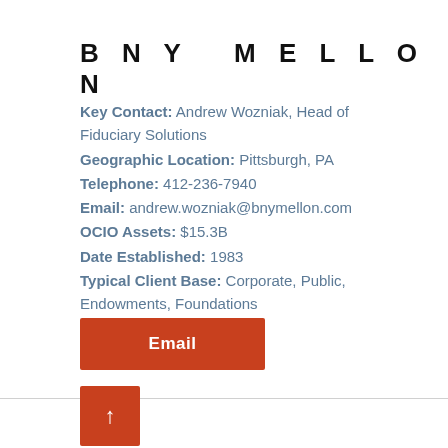BNY MELLON
Key Contact: Andrew Wozniak, Head of Fiduciary Solutions
Geographic Location: Pittsburgh, PA
Telephone: 412-236-7940
Email: andrew.wozniak@bnymellon.com
OCIO Assets: $15.3B
Date Established: 1983
Typical Client Base: Corporate, Public, Endowments, Foundations
Email